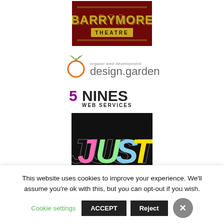[Figure (logo): Barrymore Theatre logo — dark red background with gold stylized text 'BARRYMORE' and a gold badge reading 'THEATRE']
[Figure (logo): design.garden logo — orange circle icon with text 'organic web development' above 'design.garden' in grey]
[Figure (logo): 5NINES WEB SERVICES logo — purple '5' followed by black 'NINES' in bold, with 'WEB SERVICES' below in small caps]
[Figure (logo): Just Coffee Co-op logo — black background with holographic rainbow 'JUST' in large bold italic text and a red banner reading 'COFFEE CO-OP']
This website uses cookies to improve your experience. We'll assume you're ok with this, but you can opt-out if you wish.
Cookie settings  ACCEPT  Reject